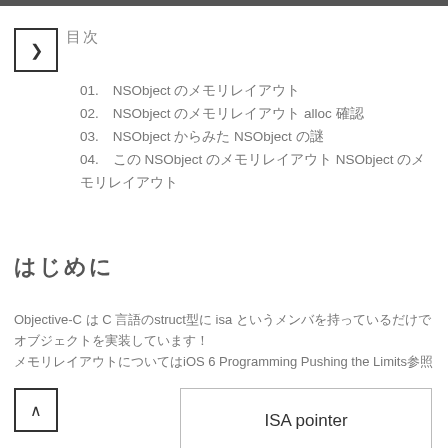▶ 目次
01. NSObject のメモリレイアウト
02. NSObject のメモリレイアウト alloc 確認
03. NSObject からみた NSObject の謎
04. この NSObject のメモリレイアウト NSObject のメモリレイアウト
はじめに
Objective-C は C 言語のstruct型に isa というメンバを持っているだけでオブジェクトを実装しています！iOS 6 Programming Pushing the Limits参照
[Figure (schematic): Memory layout diagram showing two stacked boxes: top box labeled 'ISA pointer', bottom box labeled 'Root class\'s ivars']
▲ 上へ